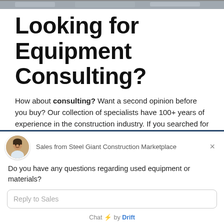[Figure (photo): Top partial image strip showing what appears to be a construction or industrial scene]
Looking for Equipment Consulting?
How about consulting? Want a second opinion before you buy? Our collection of specialists have 100+ years of experience in the construction industry. If you searched for komatsu used heavy equipment, we can help.
[Figure (screenshot): Chat widget from Steel Giant Construction Marketplace showing avatar, message 'Do you have any questions regarding used equipment or materials?', reply input box labeled 'Reply to Sales', and footer 'Chat by Drift']